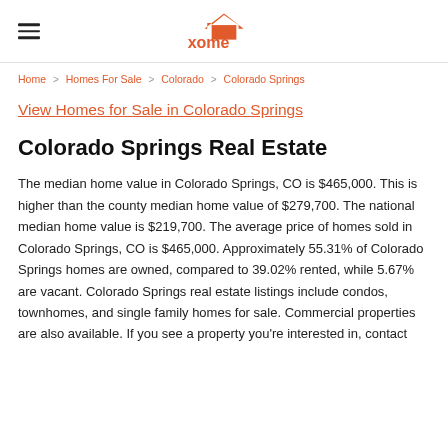xome
Home > Homes For Sale > Colorado > Colorado Springs
View Homes for Sale in Colorado Springs
Colorado Springs Real Estate
The median home value in Colorado Springs, CO is $465,000. This is higher than the county median home value of $279,700. The national median home value is $219,700. The average price of homes sold in Colorado Springs, CO is $465,000. Approximately 55.31% of Colorado Springs homes are owned, compared to 39.02% rented, while 5.67% are vacant. Colorado Springs real estate listings include condos, townhomes, and single family homes for sale. Commercial properties are also available. If you see a property you're interested in, contact